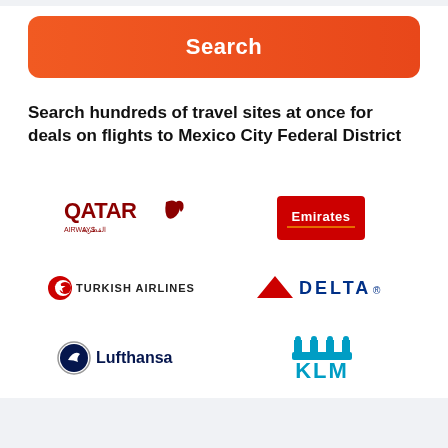Search
Search hundreds of travel sites at once for deals on flights to Mexico City Federal District
[Figure (logo): Qatar Airways logo]
[Figure (logo): Emirates logo]
[Figure (logo): Turkish Airlines logo]
[Figure (logo): Delta logo]
[Figure (logo): Lufthansa logo]
[Figure (logo): KLM logo]
[Figure (logo): Air France logo]
[Figure (logo): American Airlines logo]